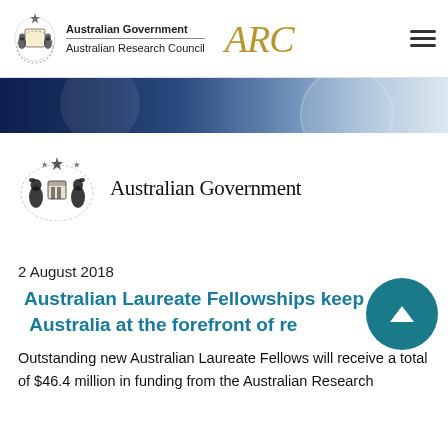[Figure (logo): Australian Government Australian Research Council header with crest logo and ARC gold italic text, with hamburger menu icon on right]
[Figure (photo): Banner photo with dark blue tones, appears to show abstract/scientific imagery]
[Figure (logo): Large Australian Government crest with kangaroo and emu, with text 'Australian Government' beside it]
2 August 2018
Australian Laureate Fellowships keep Australia at the forefront of re[search]
Outstanding new Australian Laureate Fellows will receive a total of $46.4 million in funding from the Australian Research